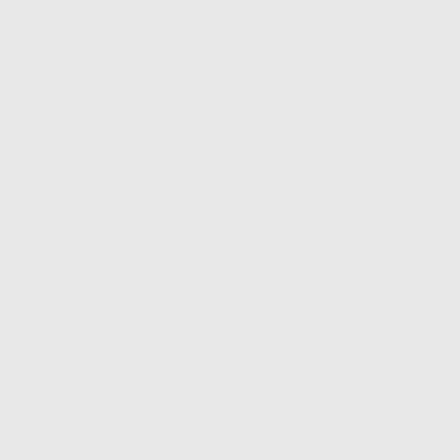you're after is a night of rampant se... a hot [...]...
2. How To Pick Up More Women Tha... for nightclubs, bars and some types are present who don't know each o... guy feels a little inadequate. There... built and better [...]...
3. 10 Worst Pick-Up Lines How YOU ... Tribbiani head nod and you are sur... the line, but its really no more succ... seems to have the highest success... is [...]...
4. Pick Up Artist – How To Pick Up A S... general is not an easy task for ever... you succeed. Many guys have had... choosing. This article will show you... Survey the scene. The [...]...
5. Learn How To Pick Up Women Eas... find the girls, have you ever found y... attract women. You know that they... than you and yet you are always th...
6. Ways to Pick Up Girls Effortlessly O... now are surely looking for dates ei...